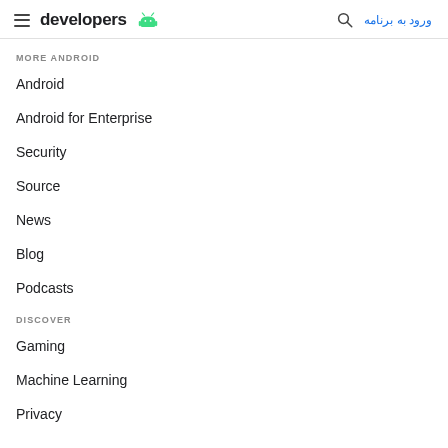developers | ورود به برنامه
MORE ANDROID
Android
Android for Enterprise
Security
Source
News
Blog
Podcasts
DISCOVER
Gaming
Machine Learning
Privacy